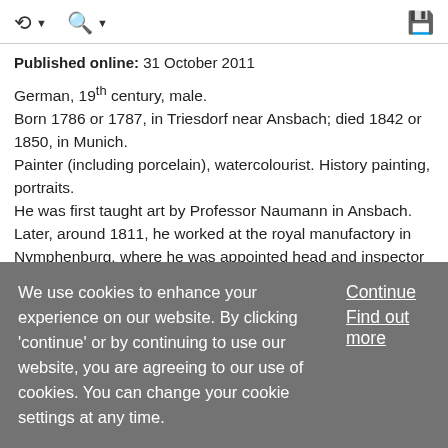Published online: 31 October 2011
German, 19th century, male.
Born 1786 or 1787, in Triesdorf near Ansbach; died 1842 or 1850, in Munich.
Painter (including porcelain), watercolourist. History painting, portraits.
He was first taught art by Professor Naumann in Ansbach. Later, around 1811, he worked at the royal manufactory in Nymphenburg, where he was appointed head and inspector of the painting workshop. In his genre, he is considered among the best German masters. His reputation is based
We use cookies to enhance your experience on our website. By clicking 'continue' or by continuing to use our website, you are agreeing to our use of cookies. You can change your cookie settings at any time.